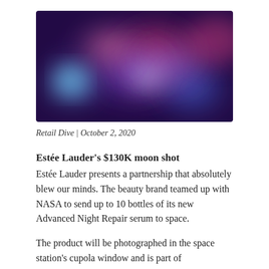[Figure (photo): Abstract blurred bokeh photo with purple, blue, red, and pink light orbs on a dark background]
Retail Dive | October 2, 2020
Estée Lauder's $130K moon shot
Estée Lauder presents a partnership that absolutely blew our minds. The beauty brand teamed up with NASA to send up to 10 bottles of its new Advanced Night Repair serum to space.
The product will be photographed in the space station's cupola window and is part of